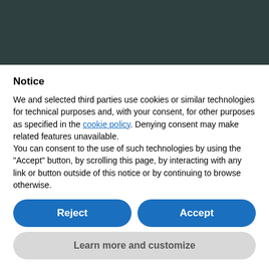[Figure (other): Dark teal/green header banner area]
Notice
We and selected third parties use cookies or similar technologies for technical purposes and, with your consent, for other purposes as specified in the cookie policy. Denying consent may make related features unavailable.
You can consent to the use of such technologies by using the "Accept" button, by scrolling this page, by interacting with any link or button outside of this notice or by continuing to browse otherwise.
Reject
Accept
Learn more and customize